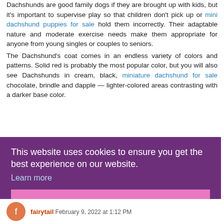Dachshunds are good family dogs if they are brought up with kids, but it's important to supervise play so that children don't pick up or mini dachshund puppies for sale hold them incorrectly. Their adaptable nature and moderate exercise needs make them appropriate for anyone from young singles or couples to seniors.
The Dachshund's coat comes in an endless variety of colors and patterns. Solid red is probably the most popular color, but you will also see Dachshunds in cream, black, miniature dachshund for sale chocolate, brindle and dapple — lighter-colored areas contrasting with a darker base color.
...ney have superb
...niture so off the
This website uses cookies to ensure you get the best experience on our website. Learn more
Got it!
fairytail February 9, 2022 at 1:12 PM